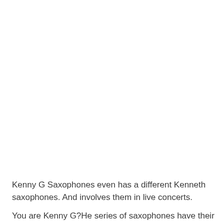Kenny G Saxophones even has a different Kenneth saxophones. And involves them in live concerts.
You are Kenny G?He series of saxophones have their creation in